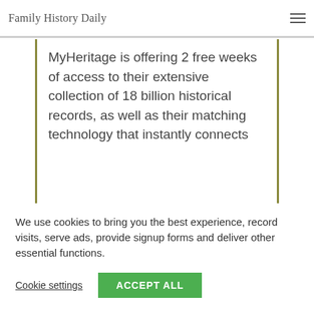Family History Daily
MyHeritage is offering 2 free weeks of access to their extensive collection of 18 billion historical records, as well as their matching technology that instantly connects
We use cookies to bring you the best experience, record visits, serve ads, provide signup forms and deliver other essential functions.
Cookie settings   ACCEPT ALL